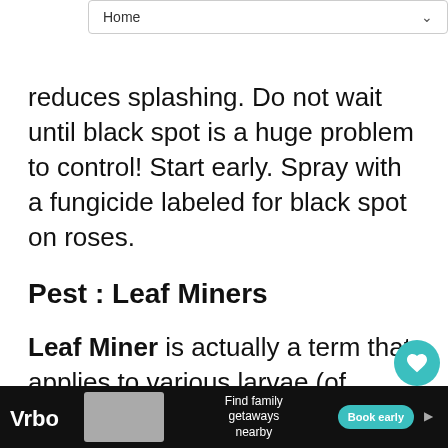Home
reduces splashing. Do not wait until black spot is a huge problem to control! Start early. Spray with a fungicide labeled for black spot on roses.
Pest : Leaf Miners
Leaf Miner is actually a term that applies to various larvae (of moths, beetles, and flies) that tunnel between upper and lower leaf surfaces, leaving a distinctive, squig... A female adult can lay several hundred eggs inside the leaf which hatch and give rise to mi...